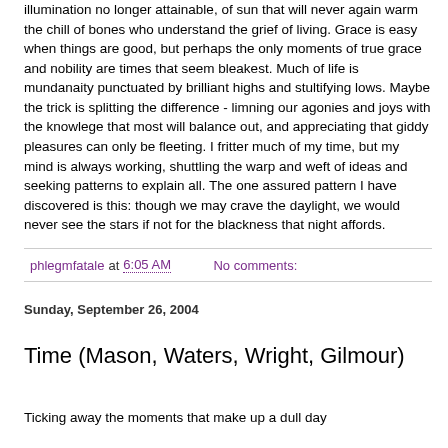illumination no longer attainable, of sun that will never again warm the chill of bones who understand the grief of living. Grace is easy when things are good, but perhaps the only moments of true grace and nobility are times that seem bleakest. Much of life is mundanaity punctuated by brilliant highs and stultifying lows. Maybe the trick is splitting the difference - limning our agonies and joys with the knowlege that most will balance out, and appreciating that giddy pleasures can only be fleeting. I fritter much of my time, but my mind is always working, shuttling the warp and weft of ideas and seeking patterns to explain all. The one assured pattern I have discovered is this: though we may crave the daylight, we would never see the stars if not for the blackness that night affords.
phlegmfatale at 6:05 AM   No comments:
Sunday, September 26, 2004
Time (Mason, Waters, Wright, Gilmour)
Ticking away the moments that make up a dull day